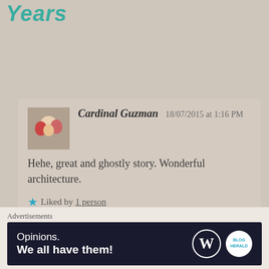Years
Cardinal Guzman   18/07/2015 at 1:16 PM

Hehe, great and ghostly story. Wonderful architecture.

★ Liked by 1 person
afairymind   18/07/2015 at 1:54 PM
Advertisements
[Figure (other): WordPress Opinions advertisement banner: 'Opinions. We all have them!' with WordPress and blog logos on dark background]